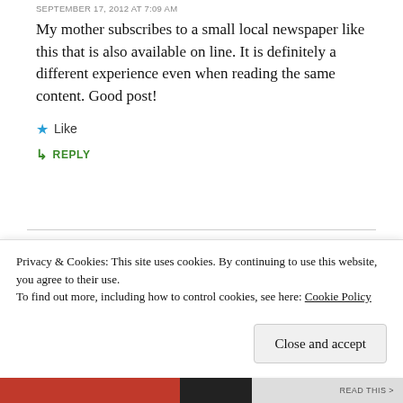SEPTEMBER 17, 2012 AT 7:09 AM
My mother subscribes to a small local newspaper like this that is also available on line. It is definitely a different experience even when reading the same content. Good post!
★ Like
↳ REPLY
★ bottledworder
SEPTEMBER 17, 2012 AT 4:33 PM
Thanks!
Privacy & Cookies: This site uses cookies. By continuing to use this website, you agree to their use.
To find out more, including how to control cookies, see here: Cookie Policy
Close and accept